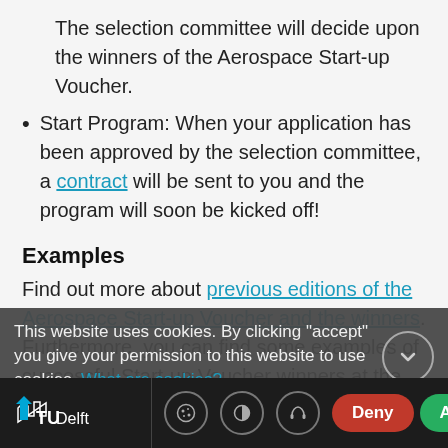The selection committee will decide upon the winners of the Aerospace Start-up Voucher.
Start Program: When your application has been approved by the selection committee, a contract will be sent to you and the program will soon be kicked off!
Examples
Find out more about previous editions of the Aerospace Start-up Voucher and the winners. Furthermore, you can find some examples of successful Start-up Voucher winners at the Aerospace Innovation Hub @TUD website.
This website uses cookies. By clicking "accept" you give your permission to this website to use cookies. What are cookies?
[Figure (screenshot): TU Delft footer bar with logo, cookie/accessibility icons, and Deny/Accept buttons]